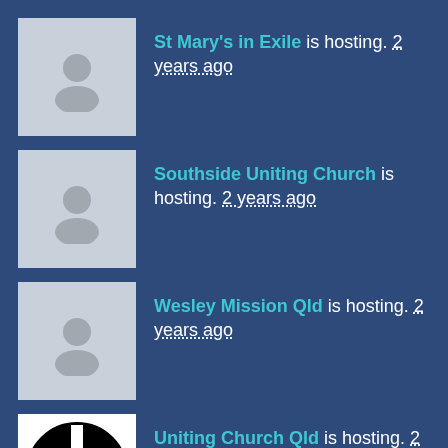St Mary's in Exile is hosting. 2 years ago
Southside Uniting Church is hosting. 2 years ago
Wesley Mission Qld is hosting. 2 years ago
Uniting Church Qld is hosting. 2 years ago
United Workers Union is hosting. 2 years ago
Together is hosting. 2 years ago
Sisters of St Joseph of the Sacred Heart